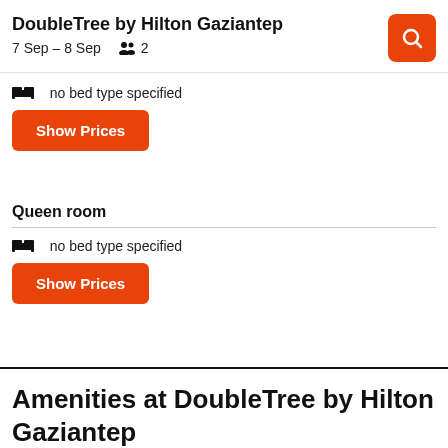DoubleTree by Hilton Gaziantep
7 Sep – 8 Sep   👥 2
no bed type specified
Show Prices
Queen room
no bed type specified
Show Prices
Amenities at DoubleTree by Hilton Gaziantep